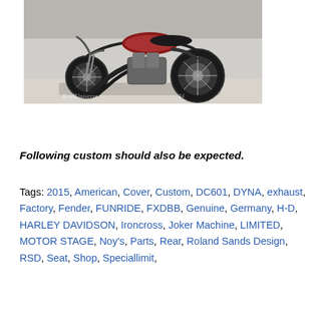[Figure (photo): A custom Harley-Davidson motorcycle (DYNA/FXDBB) with lowered stance, wide rear tire, chrome engine, and custom exhaust pipes, photographed outdoors in front of a building.]
Following custom should also be expected.
Tags: 2015, American, Cover, Custom, DC601, DYNA, exhaust, Factory, Fender, FUNRIDE, FXDBB, Genuine, Germany, H-D, HARLEY DAVIDSON, Ironcross, Joker Machine, LIMITED, MOTOR STAGE, Noy's, Parts, Rear, Roland Sands Design, RSD, Seat, Shop, Speciallimit,